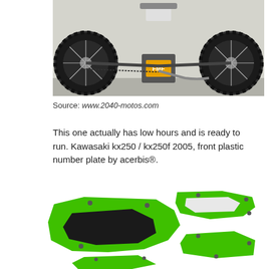[Figure (photo): Kawasaki dirt bike (motocross) on a stand, showing rear wheel and FMF exhaust, photographed from behind in a garage/driveway setting.]
Source: www.2040-motos.com
This one actually has low hours and is ready to run. Kawasaki kx250 / kx250f 2005, front plastic number plate by acerbis®.
[Figure (photo): Green and black Acerbis front number plate / radiator shroud set for Kawasaki KX250/KX250F 2005, shown as product photo on white background.]